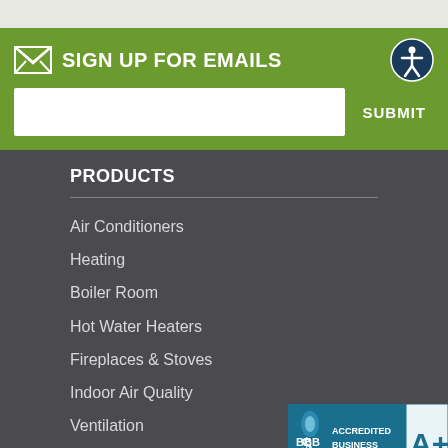SIGN UP FOR EMAILS
SUBMIT
PRODUCTS
Air Conditioners
Heating
Boiler Room
Hot Water Heaters
Fireplaces & Stoves
Indoor Air Quality
Ventilation
More
[Figure (logo): BBB Accredited Business A+ logo badge]